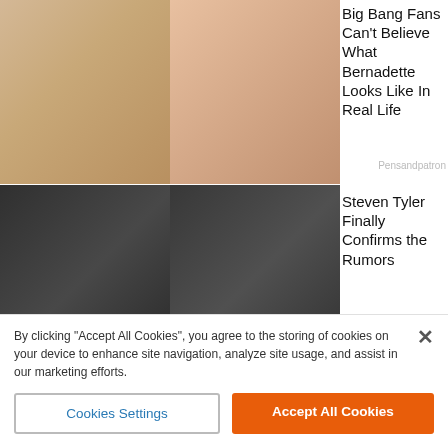[Figure (photo): Two thumbnails side by side: left shows a woman with glasses and blonde hair, right shows a woman in a pink top with long blonde hair]
Big Bang Fans Can't Believe What Bernadette Looks Like In Real Life
Pensandpatron
[Figure (photo): Two men with long dark hair, rock musicians, likely Aerosmith members]
Steven Tyler Finally Confirms the Rumors
Musicoholics
[Figure (photo): Woman with long dark hair in a pink outfit against dark background, likely Dua Lipa]
Dua Lipa 'Has to Deal' With the Consequences
Musicoholics
According to the U.S. military, state sponsor of terrorism Iran assists the Taliban.
Local officials have accused the Shiite Islamic Republic of aiding
By clicking "Accept All Cookies", you agree to the storing of cookies on your device to enhance site navigation, analyze site usage, and assist in our marketing efforts.
Cookies Settings
Accept All Cookies